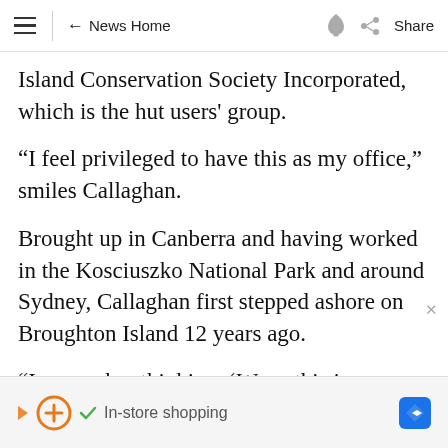≡  ← News Home  🔔  Share
Island Conservation Society Incorporated, which is the hut users' group.
“I feel privileged to have this as my office,” smiles Callaghan.
Brought up in Canberra and having worked in the Kosciuszko National Park and around Sydney, Callaghan first stepped ashore on Broughton Island 12 years ago.
“I remember thinking, ‘Wow, this is an
[Figure (screenshot): Advertisement banner: orange circle-arrow logo, green checkmark, text 'In-store shopping', blue diamond navigation icon]